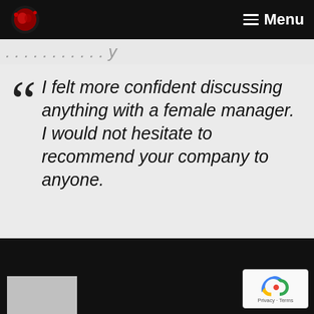Menu
I felt more confident discussing anything with a female manager. I would not hesitate to recommend your company to anyone.
[Figure (logo): reCAPTCHA badge with privacy and terms links]